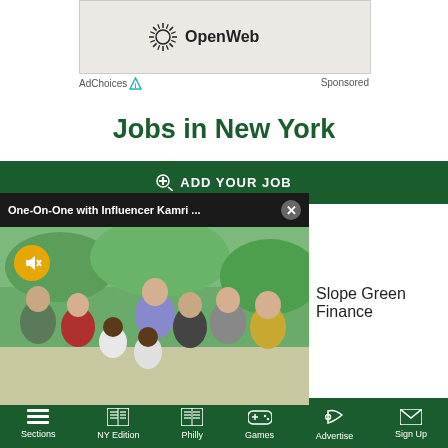[Figure (logo): OpenWeb logo with sunburst icon in a beige/tan ad container]
AdChoices  Sponsored
Jobs in New York
+ ADD YOUR JOB
[Figure (photo): Video popup overlay showing 'One-On-One with Influencer Kamri ...' with a group photo of diverse people outdoors, with a mute button and close button]
Slope Green Finance
Sections  NY Edition  Philly  Games  Advertise  Sign Up